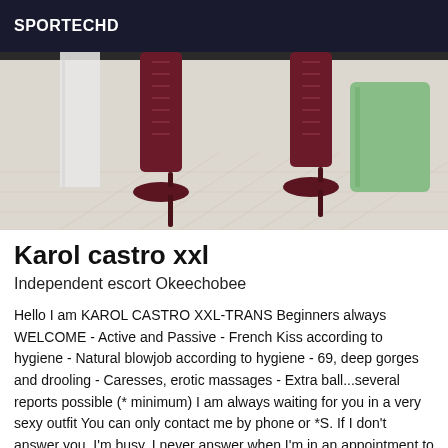SPORTECHD
[Figure (photo): Photo showing two dark red/burgundy high-heel lace-up boots on a light wood herringbone floor, with green and white objects in the background.]
Karol castro xxl
Independent escort Okeechobee
Hello I am KAROL CASTRO XXL-TRANS Beginners always WELCOME - Active and Passive - French Kiss according to hygiene - Natural blowjob according to hygiene - 69, deep gorges and drooling - Caresses, erotic massages - Extra ball...several reports possible (* minimum) I am always waiting for you in a very sexy outfit You can only contact me by phone or *S. If I don't answer you, I'm busy. I never answer when I'm in an appointment to respect you. Leave me a message and I will answer you if you wish or call me back a little later